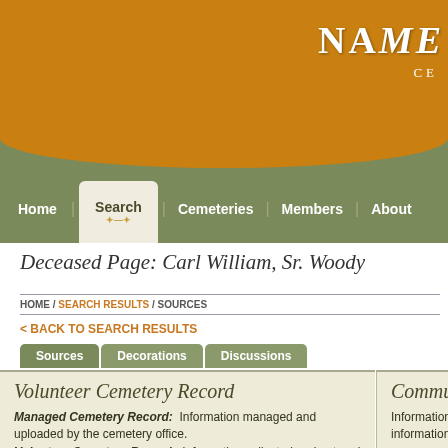NAME CE
Home | Search | Cemeteries | Members | About
Deceased Page: Carl William, Sr. Woody
HOME / SEARCH RESULTS / SOURCES
< BACK TO SEARCH RESULTS
Sources | Decorations | Discussions
Volunteer Cemetery Record
Managed Cemetery Record: Information managed and uploaded by the cemetery office. Volunteer Cemetery Record: Information collected and entered by NamesInStone volunteers.
Community ...
Information entered... edit this information... provide more accu...